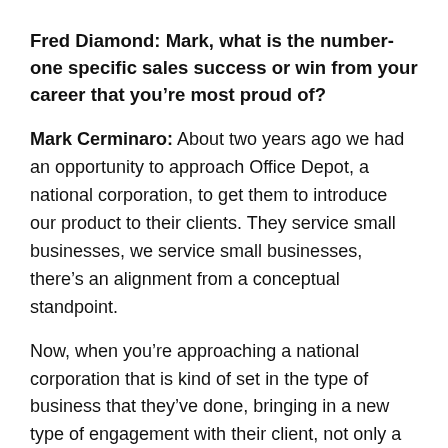Fred Diamond: Mark, what is the number-one specific sales success or win from your career that you're most proud of?
Mark Cerminaro: About two years ago we had an opportunity to approach Office Depot, a national corporation, to get them to introduce our product to their clients. They service small businesses, we service small businesses, there's an alignment from a conceptual standpoint.
Now, when you're approaching a national corporation that is kind of set in the type of business that they've done, bringing in a new type of engagement with their client, not only a new concept but also a brand-new industry… there are a lot of hurdles to overcome.